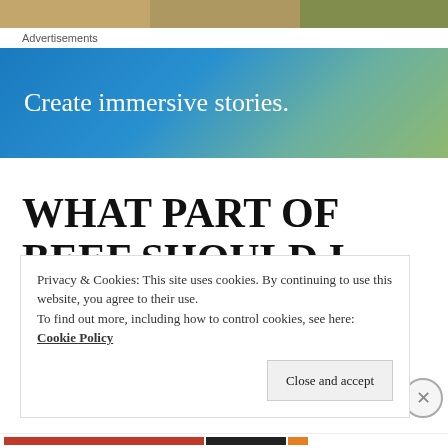[Figure (photo): Top portion of a food photo, partially visible at the top of the page]
Advertisements
[Figure (infographic): Blue-green gradient advertisement banner with text: Create immersive stories.]
WHAT PART OF BEEF SHOULD I USE?
Privacy & Cookies: This site uses cookies. By continuing to use this website, you agree to their use.
To find out more, including how to control cookies, see here: Cookie Policy
Close and accept